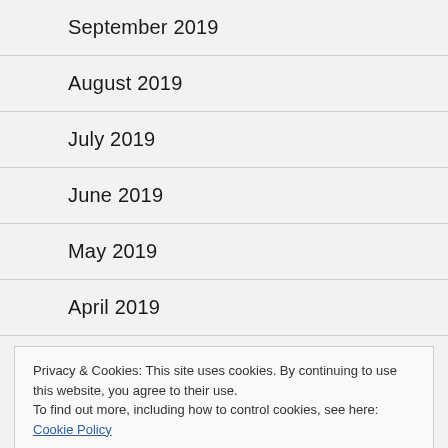September 2019
August 2019
July 2019
June 2019
May 2019
April 2019
Privacy & Cookies: This site uses cookies. By continuing to use this website, you agree to their use.
To find out more, including how to control cookies, see here: Cookie Policy
Close and accept